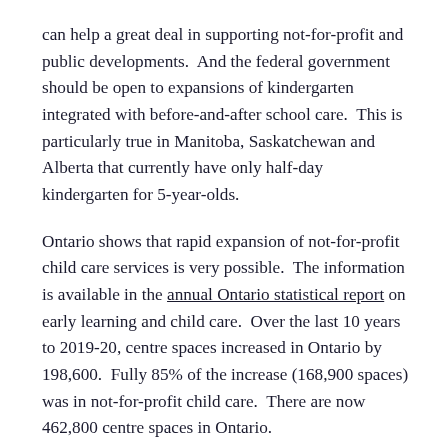can help a great deal in supporting not-for-profit and public developments.  And the federal government should be open to expansions of kindergarten integrated with before-and-after school care.  This is particularly true in Manitoba, Saskatchewan and Alberta that currently have only half-day kindergarten for 5-year-olds.
Ontario shows that rapid expansion of not-for-profit child care services is very possible.  The information is available in the annual Ontario statistical report on early learning and child care.  Over the last 10 years to 2019-20, centre spaces increased in Ontario by 198,600.  Fully 85% of the increase (168,900 spaces) was in not-for-profit child care.  There are now 462,800 centre spaces in Ontario.
On balance, what should we conclude about for-